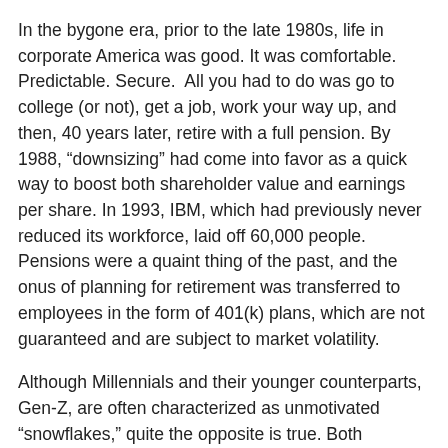In the bygone era, prior to the late 1980s, life in corporate America was good. It was comfortable. Predictable. Secure. All you had to do was go to college (or not), get a job, work your way up, and then, 40 years later, retire with a full pension. By 1988, “downsizing” had come into favor as a quick way to boost both shareholder value and earnings per share. In 1993, IBM, which had previously never reduced its workforce, laid off 60,000 people. Pensions were a quaint thing of the past, and the onus of planning for retirement was transferred to employees in the form of 401(k) plans, which are not guaranteed and are subject to market volatility.
Although Millennials and their younger counterparts, Gen-Z, are often characterized as unmotivated “snowflakes,” quite the opposite is true. Both Millennials and Gen-Z workers are, on the whole, a highly motivated and productive group. They are not, however, motivated by the same things that sparked Baby Boomers or even the famously apathetic Gen-X into action. Millennials and Gen-Z have always lived in a world in which employment is largely on employers’ terms. Gen-Z in particular, in addition to not knowing life without a handheld supercomputer, is likely to have had parents who struggled to pay crushing student loan debt. These generations